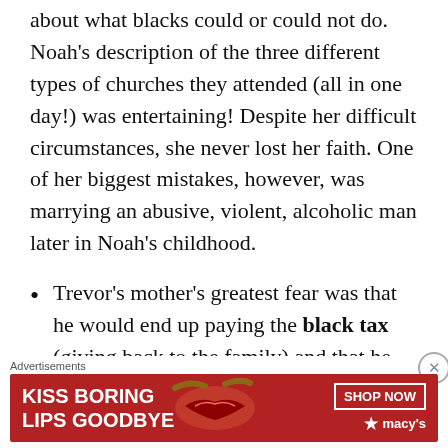about what blacks could or could not do. Noah's description of the three different types of churches they attended (all in one day!) was entertaining! Despite her difficult circumstances, she never lost her faith. One of her biggest mistakes, however, was marrying an abusive, violent, alcoholic man later in Noah's childhood.
Trevor's mother's greatest fear was that he would end up paying the black tax (giving back to the family) and that he would get
Advertisements
[Figure (infographic): Advertisement banner for Macy's lipstick promotion. Red background with white text reading 'KISS BORING LIPS GOODBYE', image of woman's lips, 'SHOP NOW' button, and Macy's logo with star.]